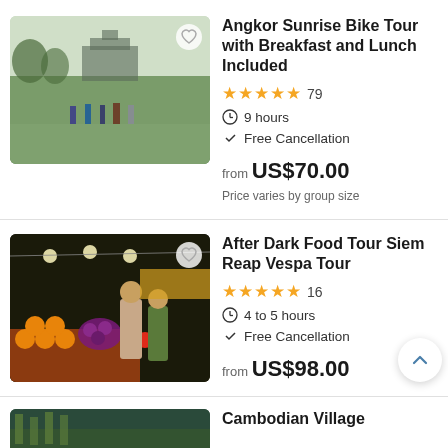[Figure (photo): Tourists walking toward Angkor Wat temple across a grassy field at sunrise]
Angkor Sunrise Bike Tour with Breakfast and Lunch Included
★★★★★ 79 | 9 hours | Free Cancellation | from US$70.00 | Price varies by group size
[Figure (photo): Night market food stall with colorful fruits and people browsing under string lights]
After Dark Food Tour Siem Reap Vespa Tour
★★★★★ 16 | 4 to 5 hours | Free Cancellation | from US$98.00
Cambodian Village